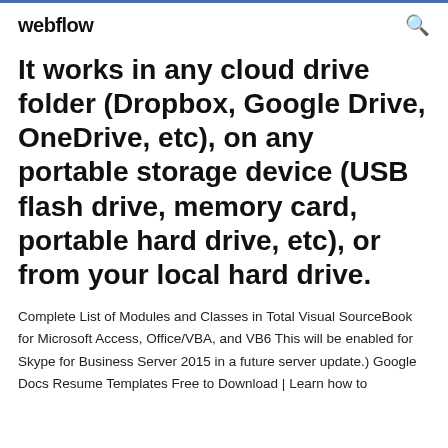webflow
It works in any cloud drive folder (Dropbox, Google Drive, OneDrive, etc), on any portable storage device (USB flash drive, memory card, portable hard drive, etc), or from your local hard drive.
Complete List of Modules and Classes in Total Visual SourceBook for Microsoft Access, Office/VBA, and VB6 This will be enabled for Skype for Business Server 2015 in a future server update.) Google Docs Resume Templates Free to Download | Learn how to